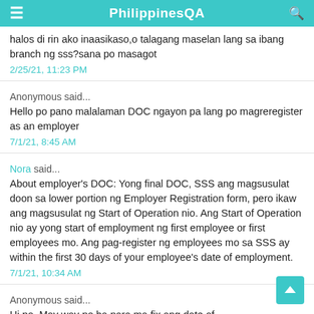PhilippinesQA
halos di rin ako inaasikaso,o talagang maselan lang sa ibang branch ng sss?sana po masagot
2/25/21, 11:23 PM
Anonymous said...
Hello po pano malalaman DOC ngayon pa lang po magreregister as an employer
7/1/21, 8:45 AM
Nora said...
About employer's DOC: Yong final DOC, SSS ang magsusulat doon sa lower portion ng Employer Registration form, pero ikaw ang magsusulat ng Start of Operation nio. Ang Start of Operation nio ay yong start of employment ng first employee or first employees mo. Ang pag-register ng employees mo sa SSS ay within the first 30 days of your employee's date of employment.
7/1/21, 10:34 AM
Anonymous said...
Hi po. May way po ba para ma fix ang date of